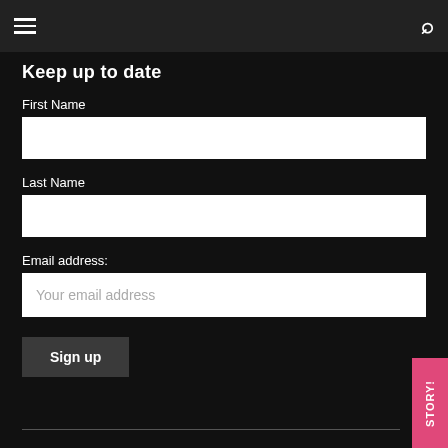☰  🔍
Keep up to date
First Name
Last Name
Email address:
Your email address
Sign up
STORY!